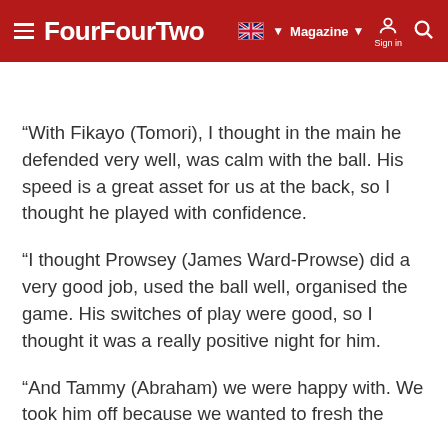FourFourTwo — Magazine
“With Fikayo (Tomori), I thought in the main he defended very well, was calm with the ball. His speed is a great asset for us at the back, so I thought he played with confidence.
“I thought Prowsey (James Ward-Prowse) did a very good job, used the ball well, organised the game. His switches of play were good, so I thought it was a really positive night for him.
“And Tammy (Abraham) we were happy with. We took him off because we wanted to refresh the forward...